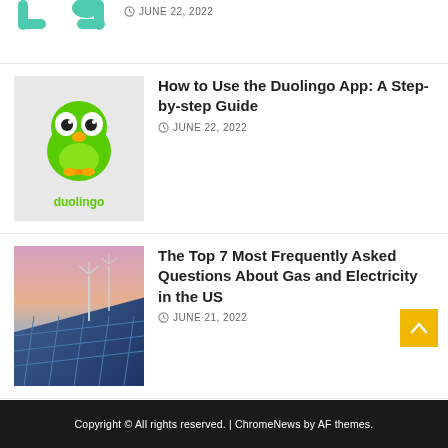[Figure (logo): Partial Duolingo logo (bottom portion) showing teal bracket shapes and leaf]
JUNE 22, 2022
[Figure (logo): Duolingo app logo: green owl mascot with white eyes, orange beak, on light gray background with 'duolingo' text in green]
How to Use the Duolingo App: A Step-by-step Guide
JUNE 22, 2022
[Figure (photo): Wind turbines and solar panels against a sunset sky with pink and blue hues]
The Top 7 Most Frequently Asked Questions About Gas and Electricity in the US
JUNE 21, 2022
Copyright © All rights reserved. | ChromeNews by AF themes.